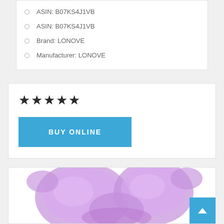ASIN: B07KS4J1VB
ASIN: B07KS4J1VB
Brand: LONOVE
Manufacturer: LONOVE
[Figure (other): Five filled star rating icons displayed in dark/black color]
[Figure (other): Blue 'BUY ONLINE' button]
[Figure (photo): Purple translucent face steam bowl / facial sauna device shaped like a butterfly or flower, photographed on white background]